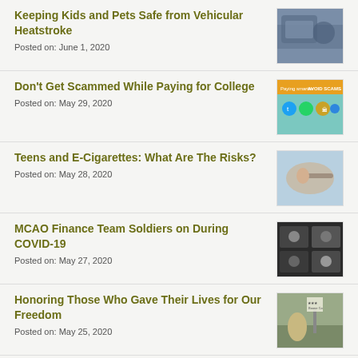Keeping Kids and Pets Safe from Vehicular Heatstroke
Posted on: June 1, 2020
[Figure (photo): Person sitting in car, viewed from inside]
Don't Get Scammed While Paying for College
Posted on: May 29, 2020
[Figure (photo): Infographic: Paying smarter, AVOID SCAMS with social media icons]
Teens and E-Cigarettes: What Are The Risks?
Posted on: May 28, 2020
[Figure (photo): Close-up of person using e-cigarette]
MCAO Finance Team Soldiers on During COVID-19
Posted on: May 27, 2020
[Figure (photo): Video conference screen with multiple participants]
Honoring Those Who Gave Their Lives for Our Freedom
Posted on: May 25, 2020
[Figure (photo): Woman sitting in field near memorial; logo with stars]